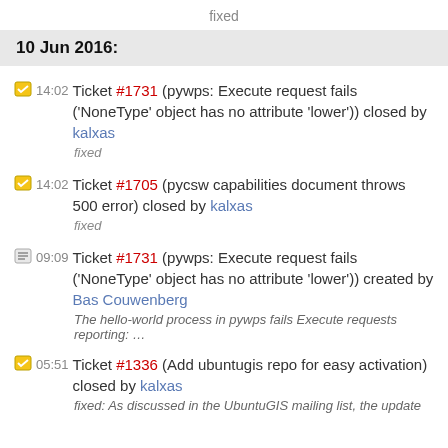fixed
10 Jun 2016:
14:02 Ticket #1731 (pywps: Execute request fails ('NoneType' object has no attribute 'lower')) closed by kalxas
fixed
14:02 Ticket #1705 (pycsw capabilities document throws 500 error) closed by kalxas
fixed
09:09 Ticket #1731 (pywps: Execute request fails ('NoneType' object has no attribute 'lower')) created by Bas Couwenberg
The hello-world process in pywps fails Execute requests reporting: …
05:51 Ticket #1336 (Add ubuntugis repo for easy activation) closed by kalxas
fixed: As discussed in the UbuntuGIS mailing list, the update